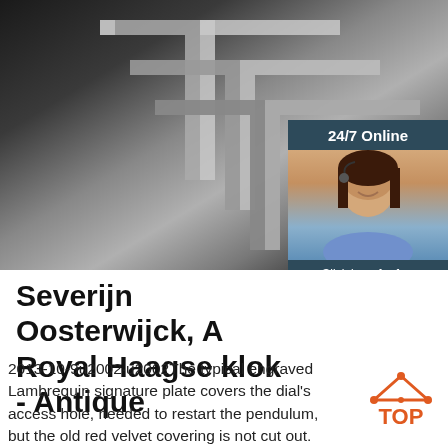[Figure (photo): Steel angle iron pieces stacked, dark metallic background. Overlay chat widget in bottom-right: '24/7 Online' header, customer service woman with headset, 'Click here for free chat!' text, orange QUOTATION button.]
Severijn Oosterwijck, A... Royal Haagse klok - Antique
2013-10-9u2002·u2002The typical engraved Lambrequin signature plate covers the dial's access hole, needed to restart the pendulum, but the old red velvet covering is not cut out. While it is not the original velvet, it is fragile so was not
[Figure (logo): Orange TOP badge/logo with arrow up icon and dots]